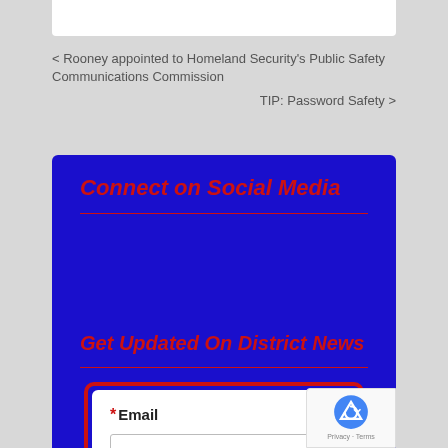< Rooney appointed to Homeland Security's Public Safety Communications Commission
TIP: Password Safety >
Connect on Social Media
Get Updated On District News
* Email